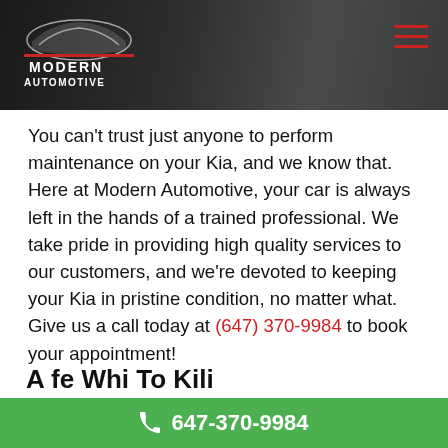[Figure (logo): Modern Automotive logo on dark header banner with hamburger menu icon]
You can't trust just anyone to perform maintenance on your Kia, and we know that. Here at Modern Automotive, your car is always left in the hands of a trained professional. We take pride in providing high quality services to our customers, and we're devoted to keeping your Kia in pristine condition, no matter what. Give us a call today at (647) 370-9984 to book your appointment!
Contact us to Book an Appointment Today
647-370-9984